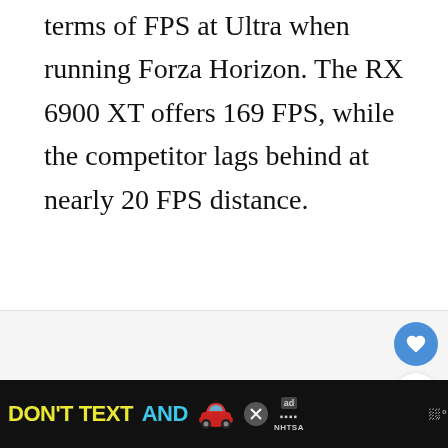terms of FPS at Ultra when running Forza Horizon. The RX 6900 XT offers 169 FPS, while the competitor lags behind at nearly 20 FPS distance.
[Figure (screenshot): Social media interaction buttons: heart/like button (blue circle with white heart, count 1), and share button (white circle). Below that is an advertisement banner with black background showing 'DON'T TEXT AND' in yellow/cyan text with a red car emoji and NHTSA ad badge. A close button (X) is visible. A weather widget icon appears on the right.]